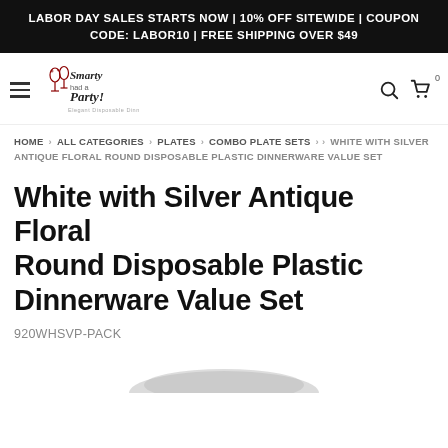LABOR DAY SALES STARTS NOW | 10% OFF SITEWIDE | COUPON CODE: LABOR10 | FREE SHIPPING OVER $49
[Figure (logo): Smarty Had a Party logo with wine glasses icon and tagline Elegant Disposable Dinnerware]
HOME › ALL CATEGORIES › PLATES › COMBO PLATE SETS › › WHITE WITH SILVER ANTIQUE FLORAL ROUND DISPOSABLE PLASTIC DINNERWARE VALUE SET
White with Silver Antique Floral Round Disposable Plastic Dinnerware Value Set
920WHSVP-PACK